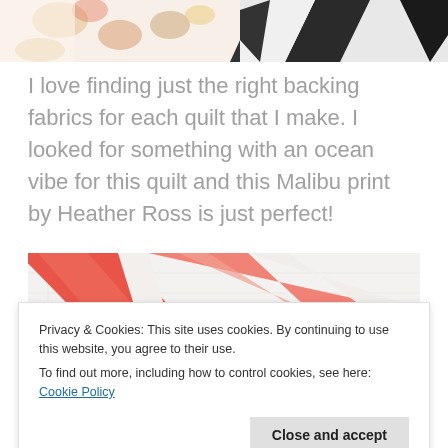[Figure (photo): Top portion of a quilt with floral and geometric fabric patterns, partially cropped.]
I love finding just the right backing fabrics for each quilt that I make. I looked for something with an ocean vibe for this quilt and this Malibu print by Heather Ross is just perfect!
[Figure (photo): Close-up photo of a quilt showing coral/red diagonal stripe pattern on white background with quilting texture.]
Privacy & Cookies: This site uses cookies. By continuing to use this website, you agree to their use.
To find out more, including how to control cookies, see here: Cookie Policy
Close and accept